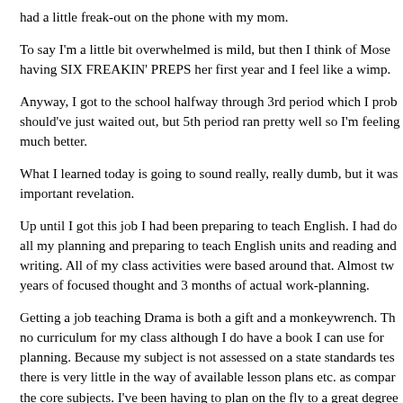had a little freak-out on the phone with my mom.
To say I'm a little bit overwhelmed is mild, but then I think of Mose having SIX FREAKIN' PREPS her first year and I feel like a wimp.
Anyway, I got to the school halfway through 3rd period which I prob should've just waited out, but 5th period ran pretty well so I'm feeling much better.
What I learned today is going to sound really, really dumb, but it was important revelation.
Up until I got this job I had been preparing to teach English. I had do all my planning and preparing to teach English units and reading and writing. All of my class activities were based around that. Almost tw years of focused thought and 3 months of actual work-planning.
Getting a job teaching Drama is both a gift and a monkeywrench. Th no curriculum for my class although I do have a book I can use for planning. Because my subject is not assessed on a state standards tes there is very little in the way of available lesson plans etc. as compar the core subjects. I've been having to plan on the fly to a great degree
It wasn't until today that I realized I was still sort of teaching my Dra class as I had planned to teach my English classes.